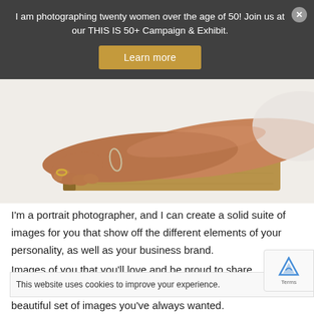I am photographing twenty women over the age of 50! Join us at our THIS IS 50+ Campaign & Exhibit.
Learn more
[Figure (photo): Close-up photo of a woman's hands with a ring and bracelet resting on top of an old book, against a white background.]
I'm a portrait photographer, and I can create a solid suite of images for you that show off the different elements of your personality, as well as your business brand.
Images of you that you'll love and be proud to share.
It's really all in the details.
This website uses cookies to improve your experience.
beautiful set of images you've always wanted.